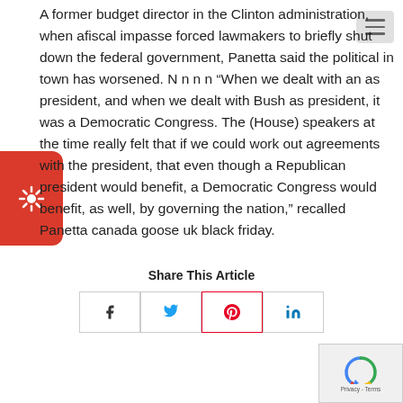A former budget director in the Clinton administration, when afiscal impasse forced lawmakers to briefly shut down the federal government, Panetta said the political in town has worsened. N n n n “When we dealt with an as president, and when we dealt with Bush as president, it was a Democratic Congress. The (House) speakers at the time really felt that if we could work out agreements with the president, that even though a Republican president would benefit, a Democratic Congress would benefit, as well, by governing the nation, ” recalled Panetta canada goose uk black friday.
Share This Article